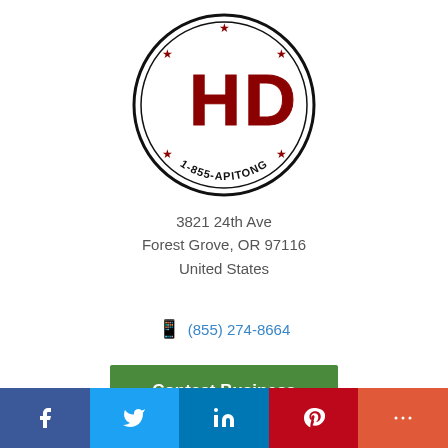[Figure (logo): Circular stamp logo with letters HD in dark red, stars, and text '1-855-APITONG' around the border]
3821 24th Ave
Forest Grove, OR 97116
United States
(855) 274-8664
Contact Business
[Figure (infographic): Social media bar with Facebook, Twitter, LinkedIn, Pinterest, and More buttons]